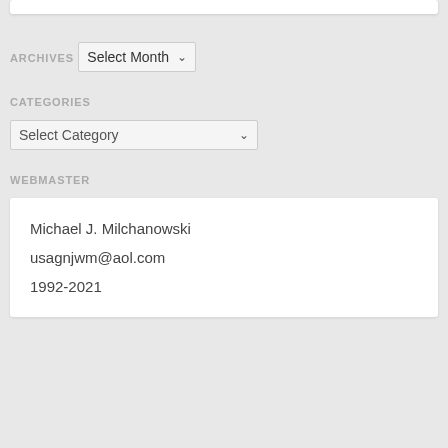ARCHIVES
[Figure (screenshot): A dropdown select box labeled 'Select Month' with a chevron arrow]
CATEGORIES
[Figure (screenshot): A dropdown select box labeled 'Select Category' with a chevron arrow]
WEBMASTER
Michael J. Milchanowski
usagnjwm@aol.com
1992-2021